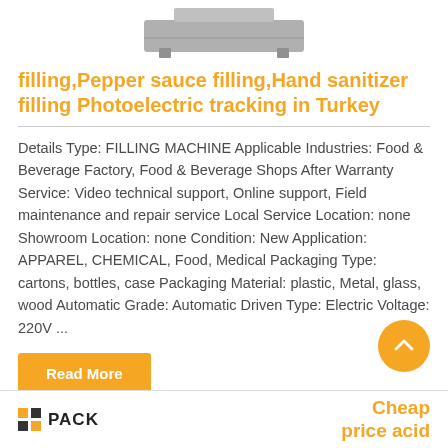[Figure (photo): Partial image of a filling machine shown at the top of the card, cut off at upper edge]
filling,Pepper sauce filling,Hand sanitizer filling Photoelectric tracking in Turkey
Details Type: FILLING MACHINE Applicable Industries: Food & Beverage Factory, Food & Beverage Shops After Warranty Service: Video technical support, Online support, Field maintenance and repair service Local Service Location: none Showroom Location: none Condition: New Application: APPAREL, CHEMICAL, Food, Medical Packaging Type: cartons, bottles, case Packaging Material: plastic, Metal, glass, wood Automatic Grade: Automatic Driven Type: Electric Voltage: 220V ...
Read More
[Figure (logo): NPACK logo with orange and dark squares grid icon on the left side of bottom card]
Cheap price acid